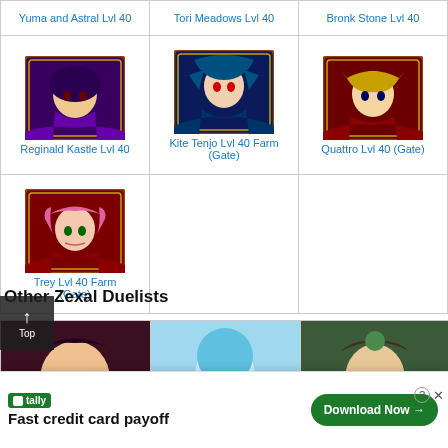| Yuma and Astral Lvl 40 | Tori Meadows Lvl 40 | Bronk Stone Lvl 40 |
| --- | --- | --- |
| [Reginald Kastle Lvl 40 image] | [Kite Tenjo Lvl 40 Farm (Gate) image] | [Quattro Lvl 40 (Gate) image] |
| Reginald Kastle Lvl 40 | Kite Tenjo Lvl 40 Farm (Gate) | Quattro Lvl 40 (Gate) |
| [Trey Lvl 40 Farm (Gate) image] |  |  |
| Trey Lvl 40 Farm (Gate) |  |  |
Other Zexal Duelists
[Figure (illustration): Three partially visible character portraits from Yu-Gi-Oh Zexal game]
[Figure (screenshot): Advertisement banner for Tally app - Fast credit card payoff with Download Now button]